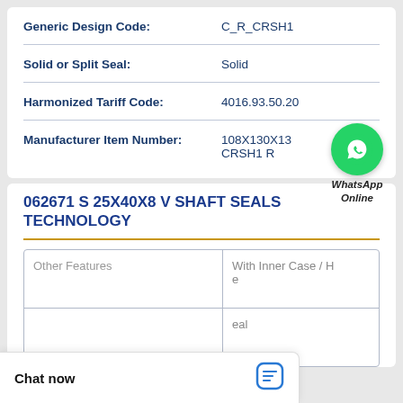| Field | Value |
| --- | --- |
| Generic Design Code: | C_R_CRSH1 |
| Solid or Split Seal: | Solid |
| Harmonized Tariff Code: | 4016.93.50.20 |
| Manufacturer Item Number: | 108X130X13 CRSH1 R |
[Figure (logo): WhatsApp green circle logo with phone icon, labeled WhatsApp Online]
062671 S 25X40X8 V SHAFT SEALS TECHNOLOGY
| Other Features | Value |
| --- | --- |
| Other Features | With Inner Case / H e |
|  | eal |
Chat now